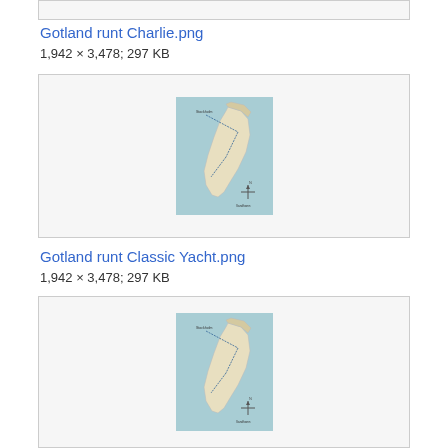[Figure (other): Top partial box (cropped from previous section)]
Gotland runt Charlie.png
1,942 × 3,478; 297 KB
[Figure (map): Thumbnail map of Gotland runt Charlie route, nautical map showing sailing route around Gotland island]
Gotland runt Classic Yacht.png
1,942 × 3,478; 297 KB
[Figure (map): Thumbnail map of Gotland runt Classic Yacht route, nautical map showing sailing route around Gotland island]